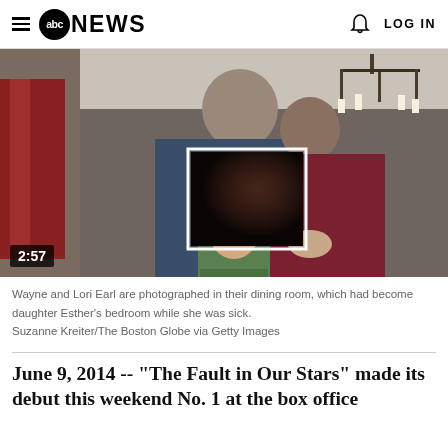abc NEWS  LOG IN
[Figure (photo): Wayne and Lori Earl photographed in their dining room holding a photo of their daughter Esther. A 2:57 video duration badge is shown at bottom left, and a play button overlay in the center.]
Wayne and Lori Earl are photographed in their dining room, which had become daughter Esther's bedroom while she was sick. Suzanne Kreiter/The Boston Globe via Getty Images
June 9, 2014 -- "The Fault in Our Stars" made its debut this weekend No. 1 at the box office